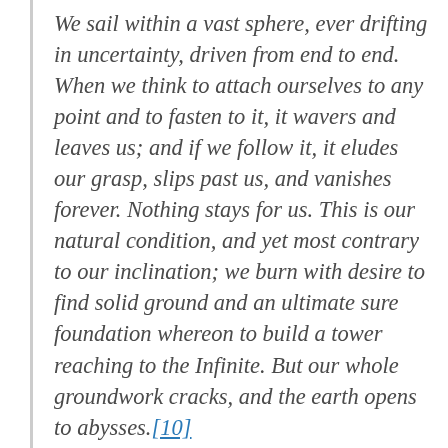We sail within a vast sphere, ever drifting in uncertainty, driven from end to end. When we think to attach ourselves to any point and to fasten to it, it wavers and leaves us; and if we follow it, it eludes our grasp, slips past us, and vanishes forever. Nothing stays for us. This is our natural condition, and yet most contrary to our inclination; we burn with desire to find solid ground and an ultimate sure foundation whereon to build a tower reaching to the Infinite. But our whole groundwork cracks, and the earth opens to abysses.[10]